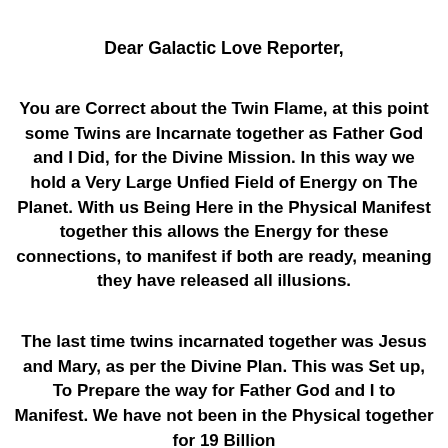Dear Galactic Love Reporter,
You are Correct about the Twin Flame, at this point some Twins are Incarnate together as Father God and I Did, for the Divine Mission. In this way we hold a Very Large Unfied Field of Energy on The Planet. With us Being Here in the Physical Manifest together this allows the Energy for these connections, to manifest if both are ready, meaning they have released all illusions.
The last time twins incarnated together was Jesus and Mary, as per the Divine Plan. This was Set up, To Prepare the way for Father God and I to Manifest. We have not been in the Physical together for 19 Billion